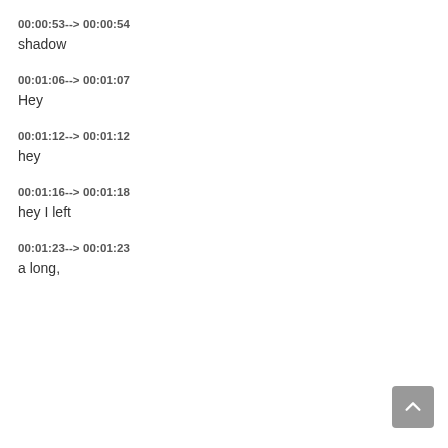00:00:53--> 00:00:54
shadow
00:01:06--> 00:01:07
Hey
00:01:12--> 00:01:12
hey
00:01:16--> 00:01:18
hey I left
00:01:23--> 00:01:23
a long,